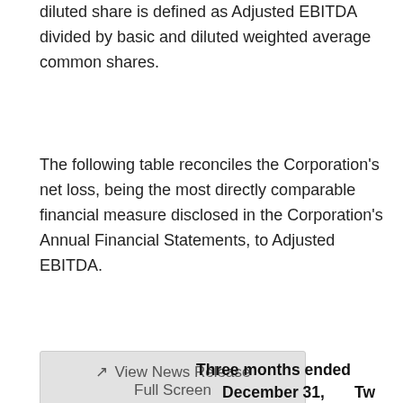diluted share is defined as Adjusted EBITDA divided by basic and diluted weighted average common shares.
The following table reconciles the Corporation's net loss, being the most directly comparable financial measure disclosed in the Corporation's Annual Financial Statements, to Adjusted EBITDA.
[Figure (other): Button labeled 'View News Release Full Screen' with expand icon]
| Three months ended December 31, | Tw |
| --- | --- |